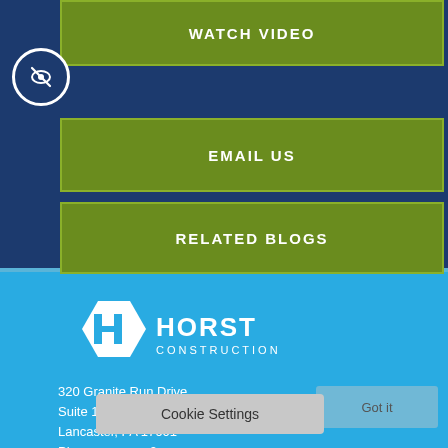WATCH VIDEO
EMAIL US
RELATED BLOGS
[Figure (logo): Horst Construction logo — white hexagon with stylized H and HORST CONSTRUCTION text]
320 Granite Run Drive
Suite 101
Lancaster, PA 17601
Ph                     0
Cookie Settings
Got it